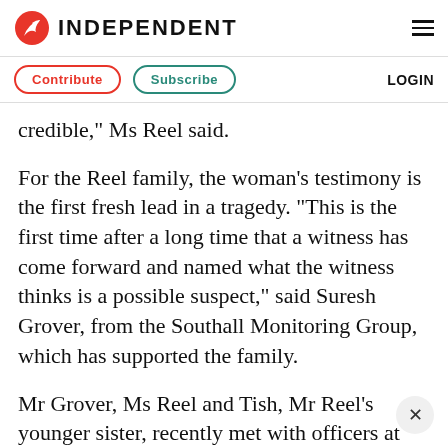INDEPENDENT
Contribute  Subscribe  LOGIN
credible,” Ms Reel said.
For the Reel family, the woman’s testimony is the first fresh lead in a tragedy. “This is the first time after a long time that a witness has come forward and named what the witness thinks is a possible suspect,” said Suresh Grover, from the Southall Monitoring Group, which has supported the family.
Mr Grover, Ms Reel and Tish, Mr Reel’s younger sister, recently met with officers at